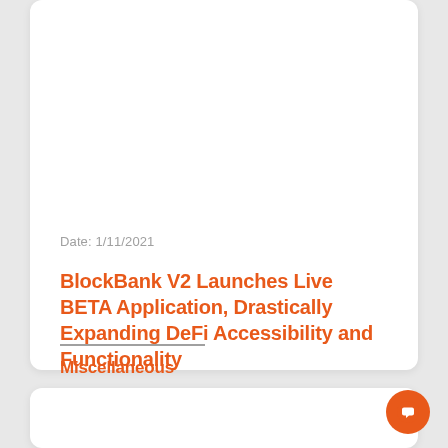Date: 1/11/2021
BlockBank V2 Launches Live BETA Application, Drastically Expanding DeFi Accessibility and Functionality
Miscellaneous